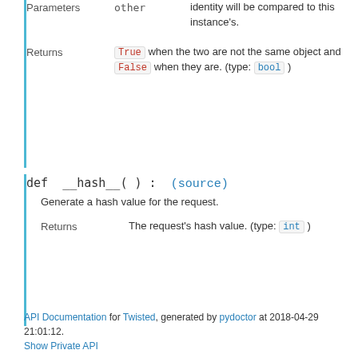|  | Parameters | other | identity will be compared to this instance's. |
| --- | --- | --- | --- |
True when the two are not the same object and False when they are. (type: bool)
def __hash__(): (source)
Generate a hash value for the request.
Returns: The request's hash value. (type: int)
API Documentation for Twisted, generated by pydoctor at 2018-04-29 21:01:12.
Show Private API